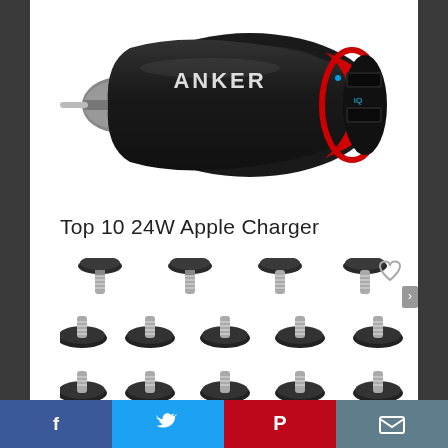[Figure (photo): Anker dual USB car charger, black with red ring and two USB ports labeled IQ]
Top 10 24W Apple Charger
[Figure (photo): Multiple black furniture leveling feet/glides with metal threaded screws, arranged in three rows]
[Figure (infographic): Social sharing bar with Facebook, Twitter, Pinterest, and email icons]